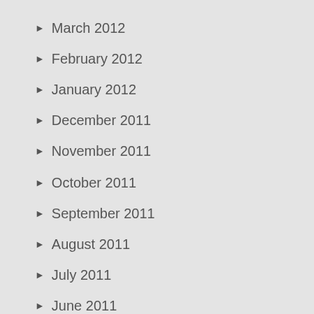March 2012
February 2012
January 2012
December 2011
November 2011
October 2011
September 2011
August 2011
July 2011
June 2011
May 2011
April 2011
March 2011